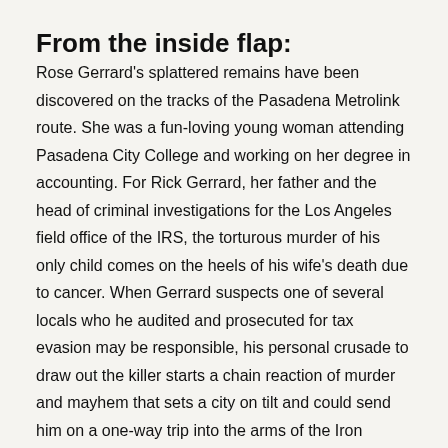From the inside flap:
Rose Gerrard's splattered remains have been discovered on the tracks of the Pasadena Metrolink route. She was a fun-loving young woman attending Pasadena City College and working on her degree in accounting. For Rick Gerrard, her father and the head of criminal investigations for the Los Angeles field office of the IRS, the torturous murder of his only child comes on the heels of his wife's death due to cancer. When Gerrard suspects one of several locals who he audited and prosecuted for tax evasion may be responsible, his personal crusade to draw out the killer starts a chain reaction of murder and mayhem that sets a city on tilt and could send him on a one-way trip into the arms of the Iron Eagle.
Please read our Content Warning page before considering this series.